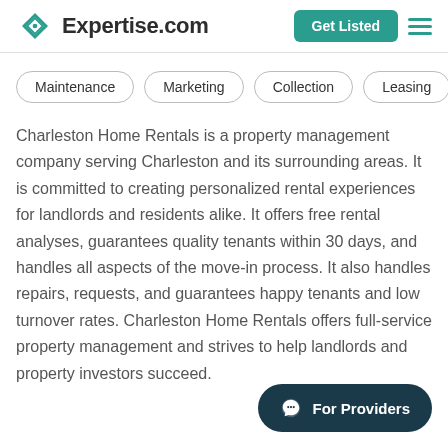Expertise.com | Get Listed
Maintenance
Marketing
Collection
Leasing
Charleston Home Rentals is a property management company serving Charleston and its surrounding areas. It is committed to creating personalized rental experiences for landlords and residents alike. It offers free rental analyses, guarantees quality tenants within 30 days, and handles all aspects of the move-in process. It also handles repairs, requests, and guarantees happy tenants and low turnover rates. Charleston Home Rentals offers full-service property management and strives to help landlords and property investors succeed.
For Providers